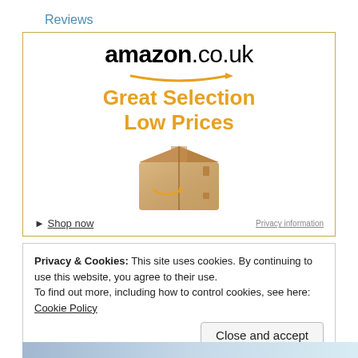Reviews
[Figure (screenshot): Amazon.co.uk advertisement banner showing logo, 'Great Selection Low Prices' text in orange, an Amazon cardboard box illustration, 'Shop now' link, and 'Privacy information' link]
Privacy & Cookies: This site uses cookies. By continuing to use this website, you agree to their use.
To find out more, including how to control cookies, see here: Cookie Policy
Close and accept